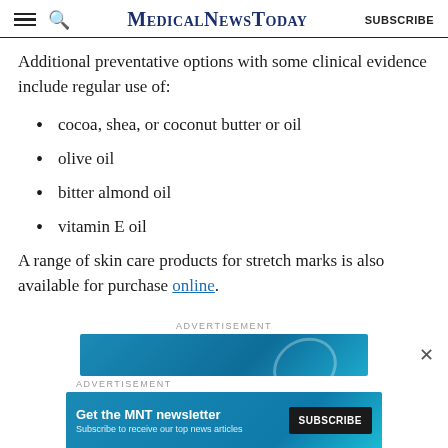MedicalNewsToday SUBSCRIBE
Additional preventative options with some clinical evidence include regular use of:
cocoa, shea, or coconut butter or oil
olive oil
bitter almond oil
vitamin E oil
A range of skin care products for stretch marks is also available for purchase online.
ADVERTISEMENT
[Figure (other): Blue advertisement banner]
ADVERTISEMENT
[Figure (other): Get the MNT newsletter - Subscribe to receive our top news articles. SUBSCRIBE button.]